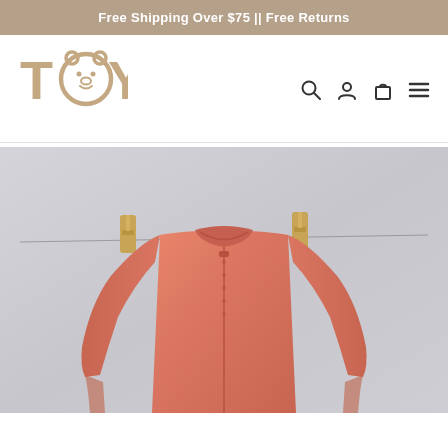Free Shipping Over $75 || Free Returns
[Figure (logo): TOY brand logo with a bear face in the O, rendered in tan/beige color]
[Figure (photo): A salmon/peach colored zip-up baby romper or pajama hanging on a clothesline with two wooden clothespins, against a light gray background]